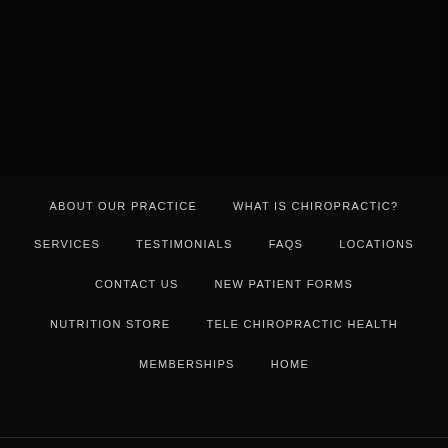[Figure (photo): Dark black area at the top of the page, likely a header image area]
ABOUT OUR PRACTICE
WHAT IS CHIROPRACTIC?
SERVICES
TESTIMONIALS
FAQS
LOCATIONS
CONTACT US
NEW PATIENT FORMS
NUTRITION STORE
TELE CHIROPRACTIC HEALTH
MEMBERSHIPS
HOME